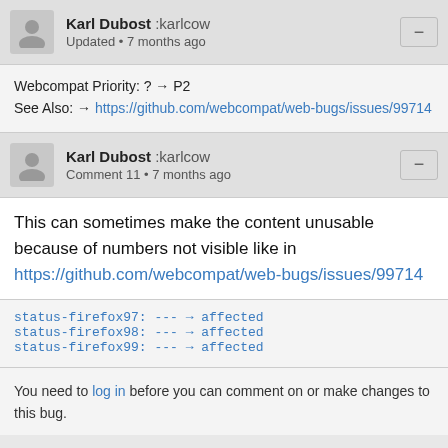Karl Dubost :karlcow — Updated • 7 months ago
Webcompat Priority: ? → P2
See Also: → https://github.com/webcompat/web-bugs/issues/99714
Karl Dubost :karlcow — Comment 11 • 7 months ago
This can sometimes make the content unusable because of numbers not visible like in https://github.com/webcompat/web-bugs/issues/99714
status-firefox97: --- → affected
status-firefox98: --- → affected
status-firefox99: --- → affected
You need to log in before you can comment on or make changes to this bug.